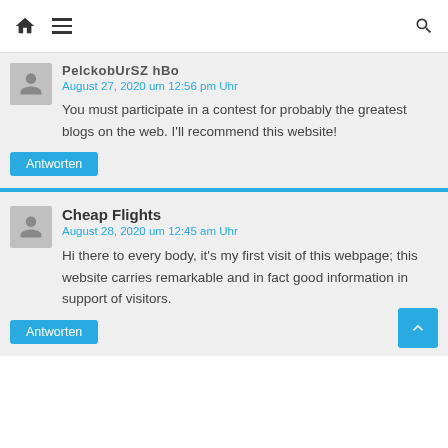Navigation bar with home icon, hamburger menu, and search icon
PelckobUrSZ hBo
August 27, 2020 um 12:56 pm Uhr
You must participate in a contest for probably the greatest blogs on the web. I'll recommend this website!
Antworten
Cheap Flights
August 28, 2020 um 12:45 am Uhr
Hi there to every body, it's my first visit of this webpage; this website carries remarkable and in fact good information in support of visitors.
Antworten